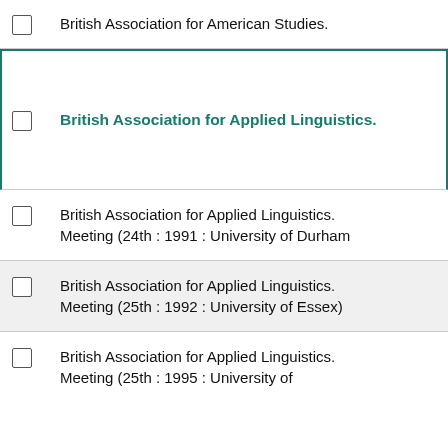British Association for American Studies.
British Association for Applied Linguistics.
British Association for Applied Linguistics. Meeting (24th : 1991 : University of Durham
British Association for Applied Linguistics. Meeting (25th : 1992 : University of Essex)
British Association for Applied Linguistics. Meeting (25th : 1995 : University of